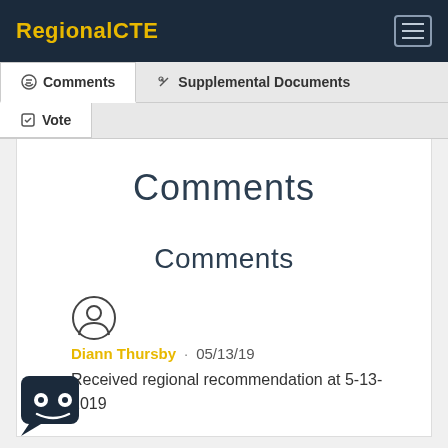RegionalCTE
Comments
Supplemental Documents
Vote
Comments
Comments
Diann Thursby · 05/13/19
Received regional recommendation at 5-13-2019